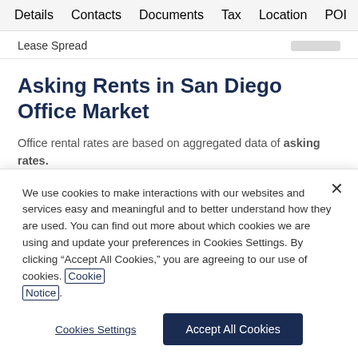Details   Contacts   Documents   Tax   Location   POI
Lease Spread
Asking Rents in San Diego Office Market
Office rental rates are based on aggregated data of asking rates.
We use cookies to make interactions with our websites and services easy and meaningful and to better understand how they are used. You can find out more about which cookies we are using and update your preferences in Cookies Settings. By clicking “Accept All Cookies,” you are agreeing to our use of cookies. Cookie Notice.
Cookies Settings
Accept All Cookies